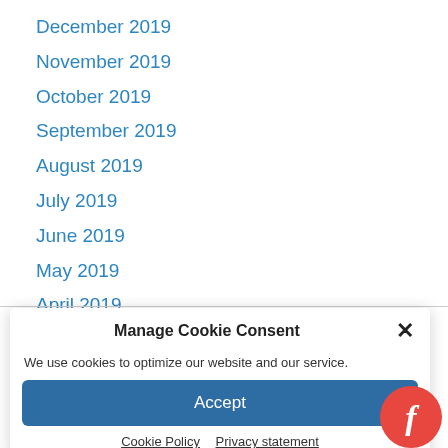December 2019
November 2019
October 2019
September 2019
August 2019
July 2019
June 2019
May 2019
April 2019
Manage Cookie Consent
We use cookies to optimize our website and our service.
Accept
Cookie Policy  Privacy statement